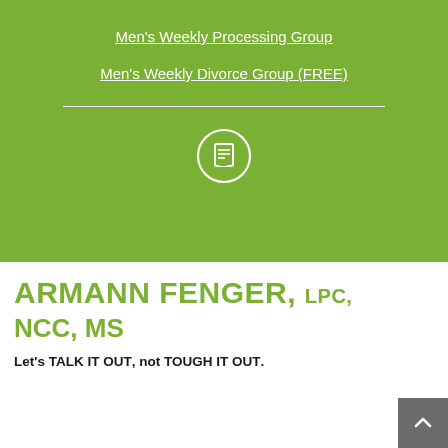Men's Weekly Processing Group
Men's Weekly Divorce Group (FREE)
[Figure (illustration): White circle icon with a document/notepad symbol inside, on green background]
ARMANN FENGER, LPC, NCC, MS
Let's TALK IT OUT, not TOUGH IT OUT.